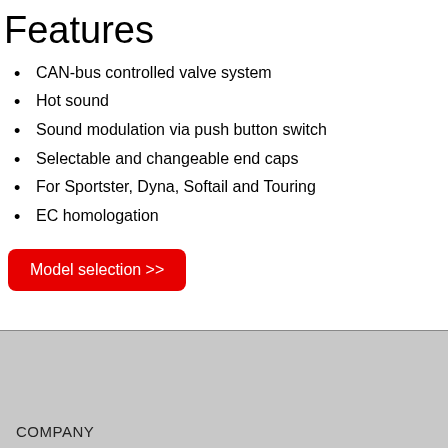Features
CAN-bus controlled valve system
Hot sound
Sound modulation via push button switch
Selectable and changeable end caps
For Sportster, Dyna, Softail and Touring
EC homologation
Model selection >>
COMPANY